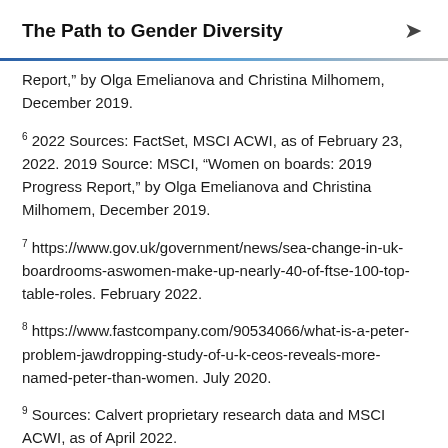The Path to Gender Diversity
Report," by Olga Emelianova and Christina Milhomem, December 2019.
6 2022 Sources: FactSet, MSCI ACWI, as of February 23, 2022. 2019 Source: MSCI, “Women on boards: 2019 Progress Report,” by Olga Emelianova and Christina Milhomem, December 2019.
7 https://www.gov.uk/government/news/sea-change-in-uk-boardrooms-aswomen-make-up-nearly-40-of-ftse-100-top-table-roles. February 2022.
8 https://www.fastcompany.com/90534066/what-is-a-peter-problem-jawdropping-study-of-u-k-ceos-reveals-more-named-peter-than-women. July 2020.
9 Sources: Calvert proprietary research data and MSCI ACWI, as of April 2022.